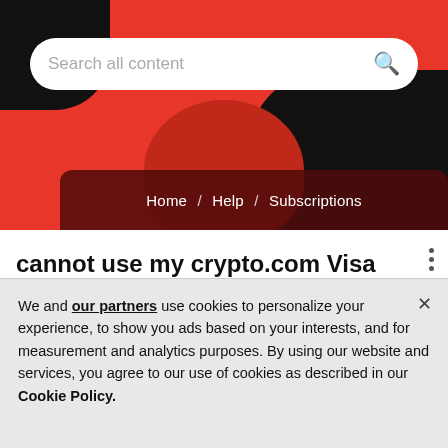[Figure (screenshot): Website hero banner with red and black abstract background, a search bar, and a dark red breadcrumb navigation bar showing Home / Help / Subscriptions]
cannot use my crypto.com Visa card
Solved! Go to solution
Greekscreamer
We and our partners use cookies to personalize your experience, to show you ads based on your interests, and for measurement and analytics purposes. By using our website and services, you agree to our use of cookies as described in our Cookie Policy.